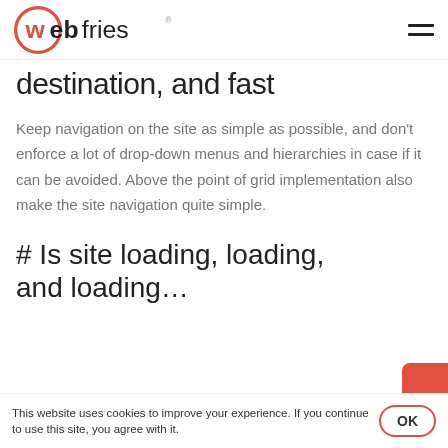webfries
destination, and fast
Keep navigation on the site as simple as possible, and don't enforce a lot of drop-down menus and hierarchies in case if it can be avoided. Above the point of grid implementation also make the site navigation quite simple.
# Is site loading, loading, and loading…
This website uses cookies to improve your experience. If you continue to use this site, you agree with it.